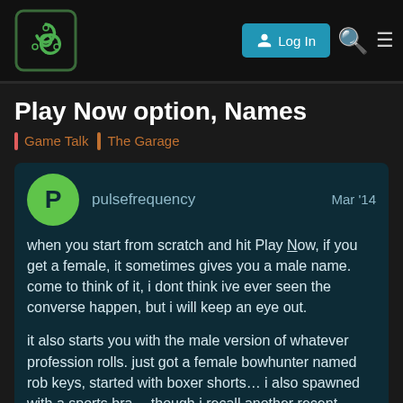Log In [search] [menu]
Play Now option, Names
Game Talk   The Garage
pulsefrequency   Mar '14
when you start from scratch and hit Play Now, if you get a female, it sometimes gives you a male name. come to think of it, i dont think ive ever seen the converse happen, but i will keep an eye out.

it also starts you with the male version of whatever profession rolls. just got a female bowhunter named rob keys, started with boxer shorts… i also spawned with a sports bra… though i recall another recent instance when i rolled a female with boxers and a sports bra. maybe i did get the female prof. idk. either way started with Hoarder and 12/11/8/7, i take with the world. she always hated being a d
1 / 7